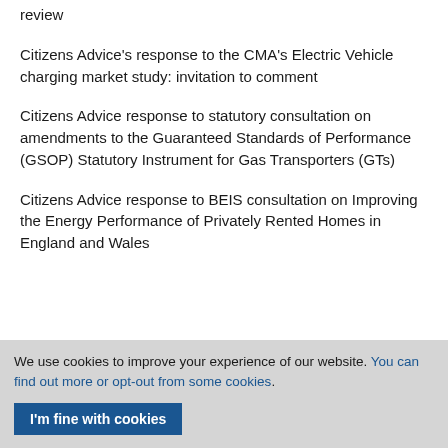review
Citizens Advice's response to the CMA's Electric Vehicle charging market study: invitation to comment
Citizens Advice response to statutory consultation on amendments to the Guaranteed Standards of Performance (GSOP) Statutory Instrument for Gas Transporters (GTs)
Citizens Advice response to BEIS consultation on Improving the Energy Performance of Privately Rented Homes in England and Wales
We use cookies to improve your experience of our website. You can find out more or opt-out from some cookies.
I'm fine with cookies